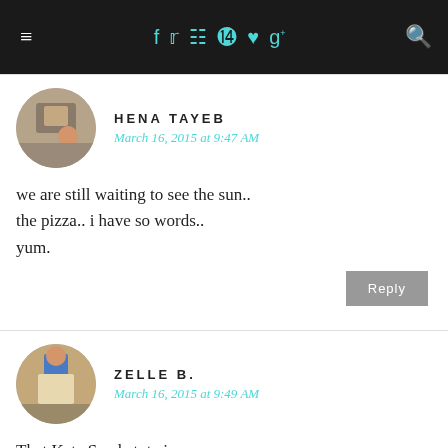≡ [social icons: f, twitter, instagram, pinterest, heart, g+] [search]
HENA TAYEB
March 16, 2015 at 9:47 AM
we are still waiting to see the sun..
the pizza.. i have so words..
yum.
ZELLE B.
March 16, 2015 at 9:49 AM
That Kate Spade tote is so